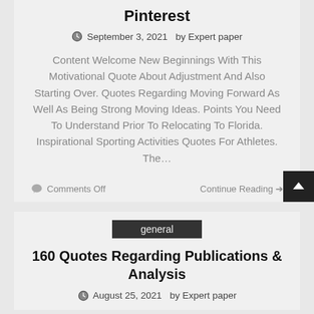Pinterest
September 3, 2021  by Expert paper
Content Welcome New Beginnings With This Motivational Quote About Adjustment And Also Starting Over. Quotes Regarding Moving Forward As Well As Being Strong Moving Ideas. Points You Need To Understand Prior To Relocating To Florida. Inspirational Sporting Activities Quotes For Athletes. The…
Comments Off   Continue Reading →
general
160 Quotes Regarding Publications & Analysis
August 25, 2021  by Expert paper